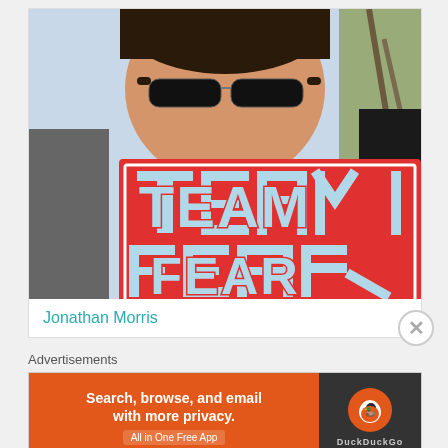[Figure (photo): A person holding a red sign reading 'TEAM FEAR' in large white collegiate letters, wearing sunglasses, outdoors with trees in background.]
Jonathan Morris
Advertisements
[Figure (screenshot): DuckDuckGo advertisement banner: 'Search, browse, and email with more privacy. All in One Free App' on orange background with DuckDuckGo duck logo on dark background.]